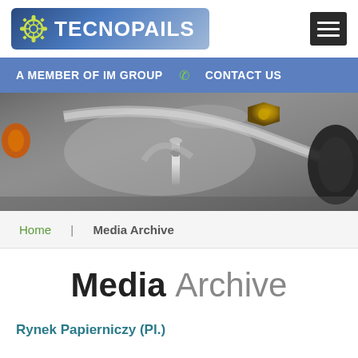TECNOPAILS — A MEMBER OF IM GROUP | CONTACT US
[Figure (photo): Close-up photo of industrial metal machinery parts including bolts, nuts, and pipe fittings in silver/grey tones with brass hardware]
Home | Media Archive
Media Archive
Rynek Papierniczy (Pl.)